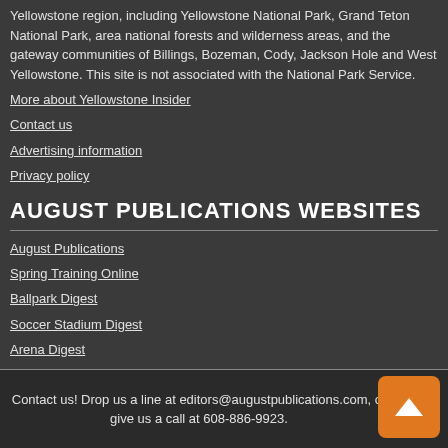Yellowstone region, including Yellowstone National Park, Grand Teton National Park, area national forests and wilderness areas, and the gateway communities of Billings, Bozeman, Cody, Jackson Hole and West Yellowstone. This site is not associated with the National Park Service.
More about Yellowstone Insider
Contact us
Advertising information
Privacy policy
AUGUST PUBLICATIONS WEBSITES
August Publications
Spring Training Online
Ballpark Digest
Soccer Stadium Digest
Arena Digest
YELLOWSTONE WEBCAMS!
If you can't make it to Yellowstone National Park, webcams bring Yellowstone National Park to you — all from the comfort of your computer chair. Check out our links to Yellowstone National Park webcams!
Contact us! Drop us a line at editors@augustpublications.com, or give us a call at 608-886-9923.